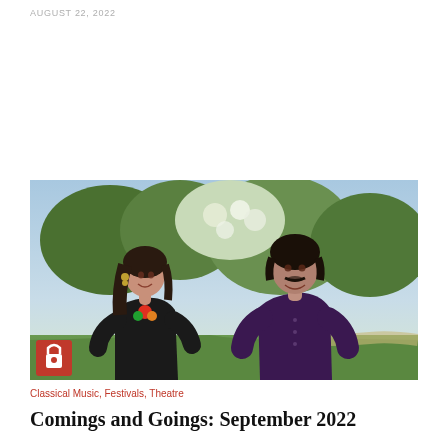AUGUST 22, 2022
[Figure (photo): Two people standing outdoors in a park with flowering trees in the background. A woman on the left wearing a black outfit with a colorful necklace, and a man on the right wearing a dark purple shirt, both smiling.]
Classical Music, Festivals, Theatre
Comings and Goings: September 2022